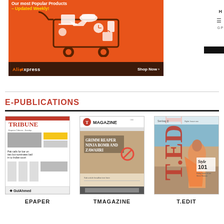[Figure (illustration): AliExpress advertisement banner with orange background, shopping cart with product icons (laptop, hat, shirt, phone, clock, camera), text 'Our most Popular Products – Updated Weekly!' in white/yellow, AliExpress logo and 'Shop Now >' on dark brown bottom bar]
E-PUBLICATIONS
[Figure (illustration): Tribune newspaper EPAPER thumbnail cover]
EPAPER
[Figure (illustration): T Magazine thumbnail cover with 'GRIMM REAPER NINJA BOMB AND ZAWAHRI' headline]
TMAGAZINE
[Figure (illustration): T.EDIT magazine cover with woman in orange/pink traditional dress, 'Style 101' text]
T.EDIT